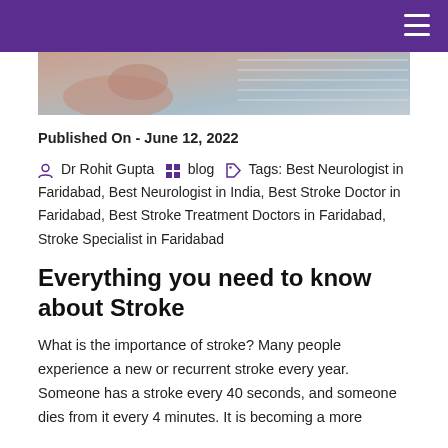[Figure (photo): Partial view of a medical/document image at the top of the page]
Published On - June 12, 2022
Dr Rohit Gupta  blog  Tags: Best Neurologist in Faridabad, Best Neurologist in India, Best Stroke Doctor in Faridabad, Best Stroke Treatment Doctors in Faridabad, Stroke Specialist in Faridabad
Everything you need to know about Stroke
What is the importance of stroke? Many people experience a new or recurrent stroke every year. Someone has a stroke every 40 seconds, and someone dies from it every 4 minutes. It is becoming a more